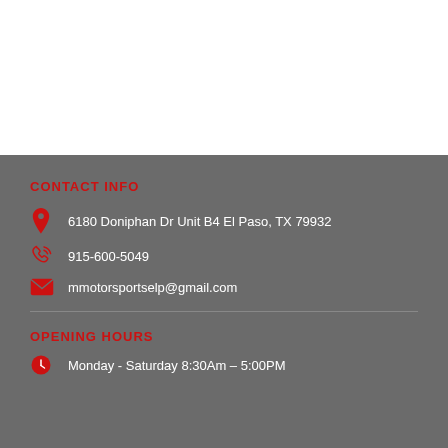CONTACT INFO
6180 Doniphan Dr Unit B4 El Paso, TX 79932
915-600-5049
mmotorsportselp@gmail.com
OPENING HOURS
Monday - Saturday 8:30Am – 5:00PM